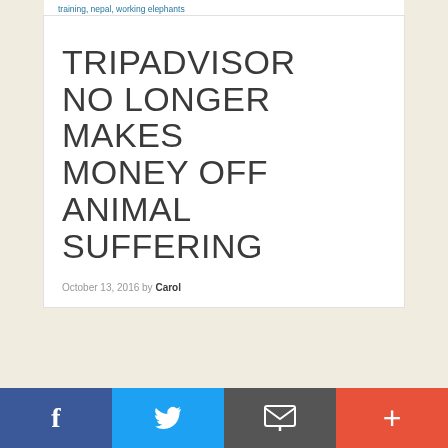training, nepal, working elephants
TRIPADVISOR NO LONGER MAKES MONEY OFF ANIMAL SUFFERING
October 13, 2016 by Carol
[Figure (photo): Photo of elephants in a green outdoor setting]
[Figure (infographic): Social share bar with Facebook, Twitter, Email, and More buttons]